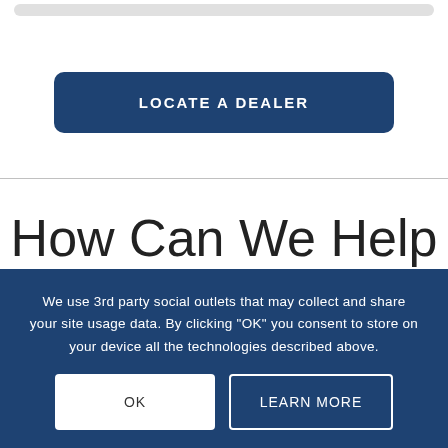[Figure (other): Gray rounded bar element at top of page]
LOCATE A DEALER
How Can We Help You?
We use 3rd party social outlets that may collect and share your site usage data. By clicking “OK” you consent to store on your device all the technologies described above.
OK
LEARN MORE